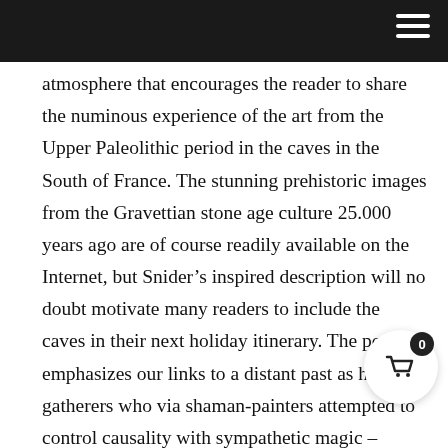atmosphere that encourages the reader to share the numinous experience of the art from the Upper Paleolithic period in the caves in the South of France. The stunning prehistoric images from the Gravettian stone age culture 25.000 years ago are of course readily available on the Internet, but Snider’s inspired description will no doubt motivate many readers to include the caves in their next holiday itinerary. The poem emphasizes our links to a distant past as hunter-gatherers who via shaman-painters attempted to control causality with sympathetic magic – painting the desired animal of prey in order to attract and slay it. The creative impulse was then as now an effort to transcend into “the spirit realm…